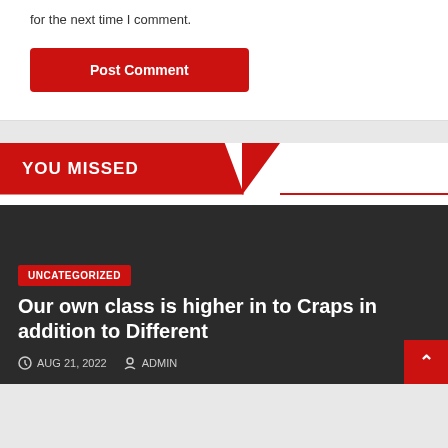for the next time I comment.
Post Comment
YOU MISSED
UNCATEGORIZED
Our own class is higher in to Craps in addition to Different
AUG 21, 2022   ADMIN